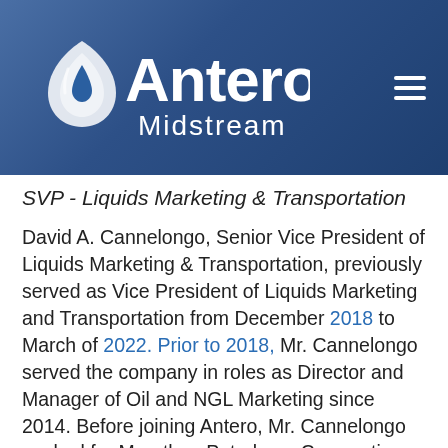Antero Midstream
SVP - Liquids Marketing & Transportation
David A. Cannelongo, Senior Vice President of Liquids Marketing & Transportation, previously served as Vice President of Liquids Marketing and Transportation from December 2018 to March of 2022. Prior to 2018, Mr. Cannelongo served the company in roles as Director and Manager of Oil and NGL Marketing since 2014. Before joining Antero, Mr. Cannelongo worked for Marathon Petroleum Corporation from 2004 to 2014 in various refined products marketing, biofuels, asset optimization and crude trading roles of increasing